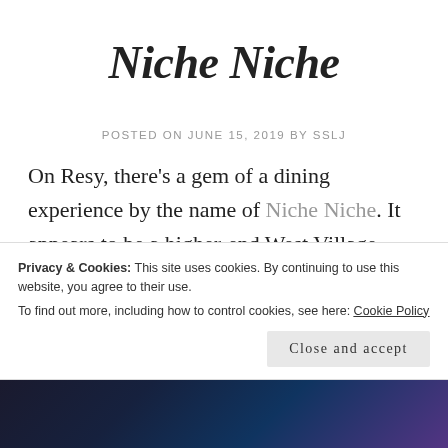Niche Niche
POSTED ON JUNE 15, 2019 BY SSLJ
On Resy, there's a gem of a dining experience by the name of Niche Niche. It appears to be a higher-end West Village restaurant from the outside, but it's actually a unique dining
Privacy & Cookies: This site uses cookies. By continuing to use this website, you agree to their use.
To find out more, including how to control cookies, see here: Cookie Policy
[Figure (photo): Dark image strip at the bottom of the page, appears to be a colorful restaurant or bar scene]